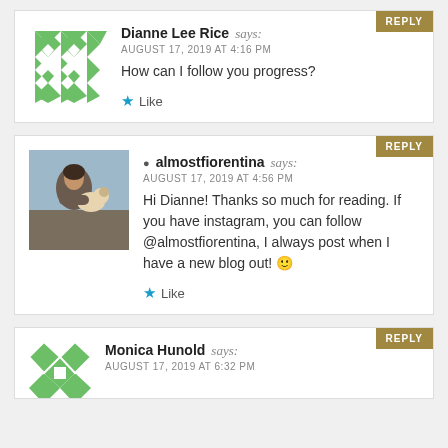REPLY
Dianne Lee Rice says:
AUGUST 17, 2019 AT 4:16 PM
How can I follow you progress?
Like
REPLY
almostfiorentina says:
AUGUST 17, 2019 AT 4:56 PM
Hi Dianne! Thanks so much for reading. If you have instagram, you can follow @almostfiorentina, I always post when I have a new blog out! 🙂
Like
REPLY
Monica Hunold says:
AUGUST 17, 2019 AT 6:32 PM